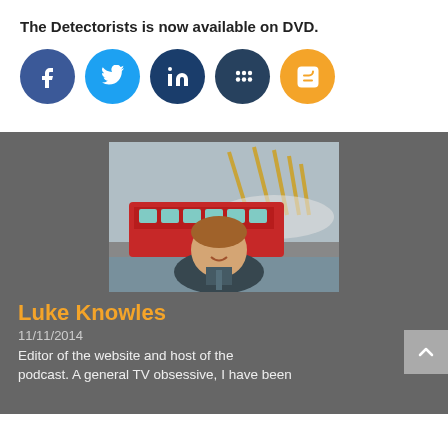The Detectorists is now available on DVD.
[Figure (illustration): Row of five social media icon circles: Facebook (dark blue, f), Twitter (light blue, bird), LinkedIn (dark navy, in), MySpace/network (dark navy, grid dots), Blogger (orange, b)]
[Figure (photo): Photo of Luke Knowles, a young smiling man in a dark suit and tie, standing in front of a red double-decker bus with the O2 Arena visible in the background, London.]
Luke Knowles
11/11/2014
Editor of the website and host of the podcast. A general TV obsessive, I have been